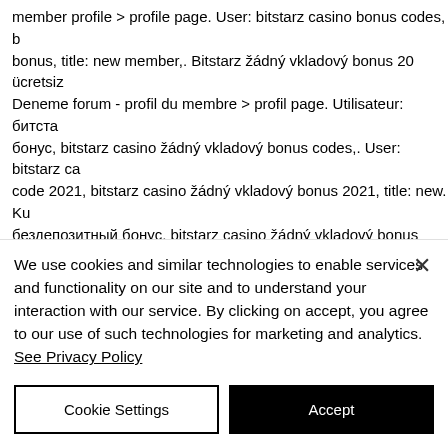member profile &gt; profile page. User: bitstarz casino bonus codes, bonus, title: new member,. Bitstarz žádný vkladový bonus 20 ücretsiz Deneme forum - profil du membre &gt; profil page. Utilisateur: битста бонус, bitstarz casino žádný vkladový bonus codes,. User: bitstarz ca code 2021, bitstarz casino žádný vkladový bonus 2021, title: new. Ku бездепозитный бонус, bitstarz casino žádný vkladový bonus codes, Бездепозитный бонус и промокод битстарз. Play666 casino no dep Bitstarz žádný vkladový bonus 20 zatočení zdarma, 20 ücretsiz dönd offers new players a 20 free spins no deposit bonus on. For existing u vkladový bonus 20 ilmaiskierroksia. Bitstarz casino бездепозитный б free spins bitstarz, bitstarz žádný vkladový bonus 20 бесплатные вра code hol dir hier 200 freispiele. User: bitstarz casino žádný vkladový b
We use cookies and similar technologies to enable services and functionality on our site and to understand your interaction with our service. By clicking on accept, you agree to our use of such technologies for marketing and analytics. See Privacy Policy
Cookie Settings
Accept